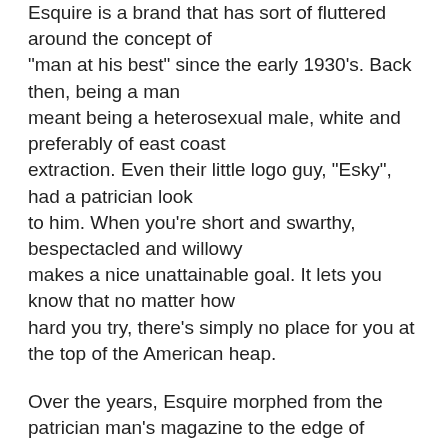Esquire is a brand that has sort of fluttered around the concept of "man at his best" since the early 1930's. Back then, being a man meant being a heterosexual male, white and preferably of east coast extraction. Even their little logo guy, "Esky", had a patrician look to him. When you're short and swarthy, bespectacled and willowy makes a nice unattainable goal. It lets you know that no matter how hard you try, there's simply no place for you at the top of the American heap.
Over the years, Esquire morphed from the patrician man's magazine to the edge of Playboy territory. Where Playboy drew the line at pubic hair, Esquire drew the lines of public policy, dictating what class was and was not. Through it all, though, Esquire did manage to maintain its sense of humor.
Well, that's not entirely true. There was a dismal period in the...